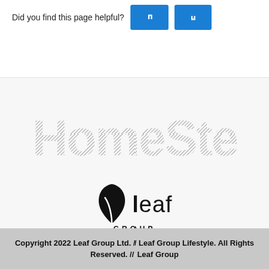Did you find this page helpful?
[Figure (logo): HomeSteady logo in large bold gray hatched text]
[Figure (logo): Leaf Group logo with black leaf icon and text 'leaf GROUP']
Copyright 2022 Leaf Group Ltd. / Leaf Group Lifestyle. All Rights Reserved. // Leaf Group